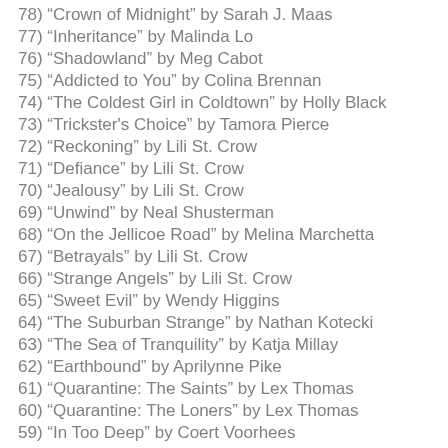78) "Crown of Midnight" by Sarah J. Maas
77) "Inheritance" by Malinda Lo
76) "Shadowland" by Meg Cabot
75) "Addicted to You" by Colina Brennan
74) "The Coldest Girl in Coldtown" by Holly Black
73) "Trickster's Choice" by Tamora Pierce
72) "Reckoning" by Lili St. Crow
71) "Defiance" by Lili St. Crow
70) "Jealousy" by Lili St. Crow
69) "Unwind" by Neal Shusterman
68) "On the Jellicoe Road" by Melina Marchetta
67) "Betrayals" by Lili St. Crow
66) "Strange Angels" by Lili St. Crow
65) "Sweet Evil" by Wendy Higgins
64) "The Suburban Strange" by Nathan Kotecki
63) "The Sea of Tranquility" by Katja Millay
62) "Earthbound" by Aprilynne Pike
61) "Quarantine: The Saints" by Lex Thomas
60) "Quarantine: The Loners" by Lex Thomas
59) "In Too Deep" by Coert Voorhees
58) "A Really Awesome Mess" by Trish Cook
57) "The Testing" by Joelle Charbonneau